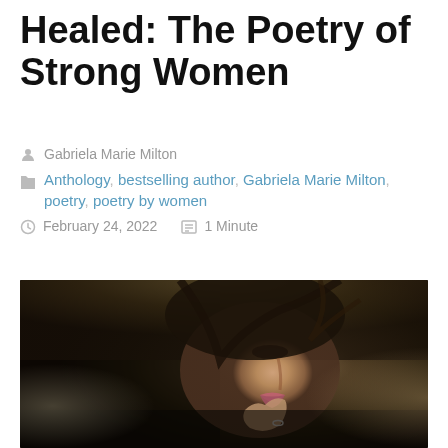Healed: The Poetry of Strong Women
Gabriela Marie Milton
Anthology, bestselling author, Gabriela Marie Milton, poetry, poetry by women
February 24, 2022   1 Minute
[Figure (photo): Close-up moody portrait of a young woman with dark hair and pink lips resting her chin on her hand, dark textured background]